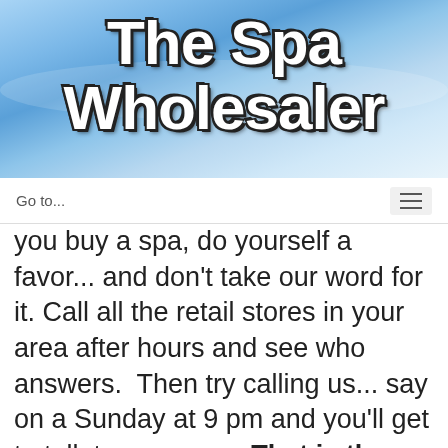[Figure (logo): The Spa Wholesaler logo with white bold text on blue water background]
Go to...
you buy a spa, do yourself a favor... and don't take our word for it. Call all the retail stores in your area after hours and see who answers.  Then try calling us... say on a Sunday at 9 pm and you'll get to talk to a person.  That is the service that sets us apart. We